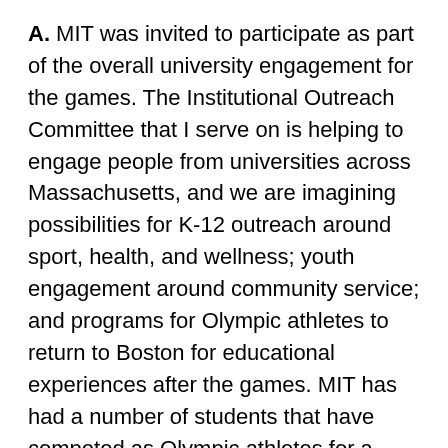A. MIT was invited to participate as part of the overall university engagement for the games. The Institutional Outreach Committee that I serve on is helping to engage people from universities across Massachusetts, and we are imagining possibilities for K-12 outreach around sport, health, and wellness; youth engagement around community service; and programs for Olympic athletes to return to Boston for educational experiences after the games. MIT has had a number of students that have competed as Olympic athletes for a range of countries, with nine alumni receiving Olympic medals.
We also foresee faculty engagement around innovation. Professor Carlo Ratti of MIT's Department